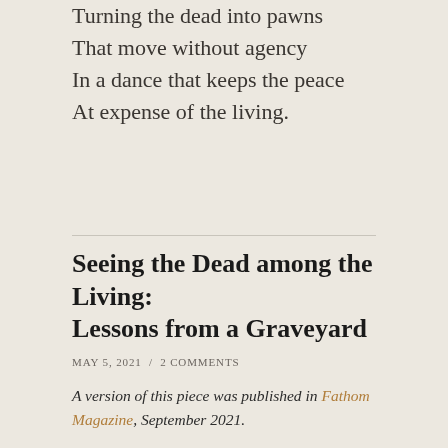Turning the dead into pawns
That move without agency
In a dance that keeps the peace
At expense of the living.
Seeing the Dead among the Living: Lessons from a Graveyard
MAY 5, 2021  /  2 COMMENTS
A version of this piece was published in Fathom Magazine, September 2021.
We live next to a cemetery. Not merely nearby